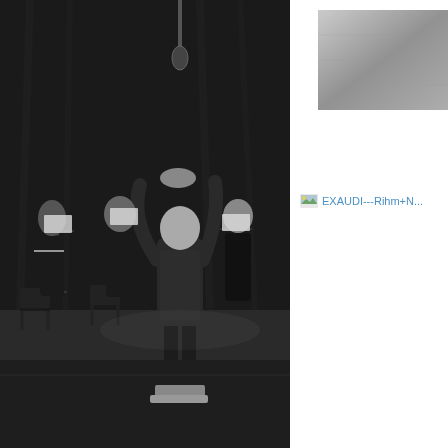[Figure (photo): Black and white photograph of a conductor on stage with arms raised above head, conducting an ensemble of singers/musicians standing at music stands. Several performers visible in the foreground and background. Taken from behind the conductor.]
[Figure (photo): Thumbnail image of an album cover with gray/silver tones, partially visible in upper right corner.]
[Figure (other): Small thumbnail/link icon followed by text 'EXAUDI---Rihm+N...' appearing as a hyperlink in blue color on the right side of the page.]